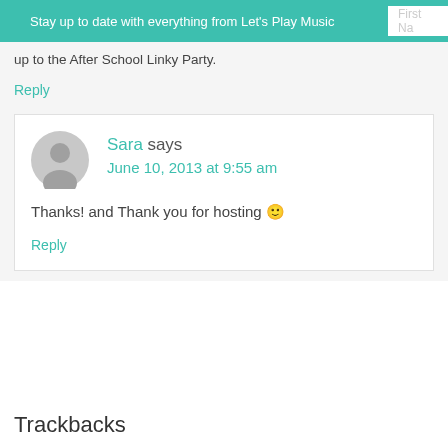Stay up to date with everything from Let's Play Music
up to the After School Linky Party.
Reply
Sara says
June 10, 2013 at 9:55 am
Thanks! and Thank you for hosting 🙂
Reply
Trackbacks